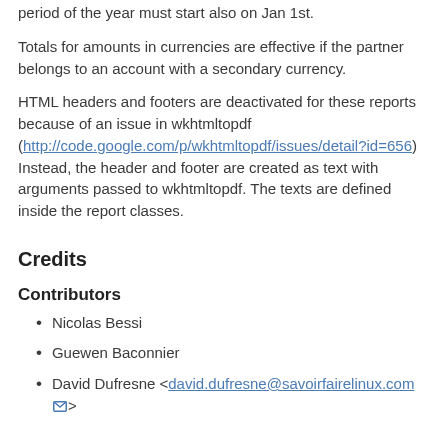period of the year must start also on Jan 1st.
Totals for amounts in currencies are effective if the partner belongs to an account with a secondary currency.
HTML headers and footers are deactivated for these reports because of an issue in wkhtmltopdf (http://code.google.com/p/wkhtmltopdf/issues/detail?id=656) Instead, the header and footer are created as text with arguments passed to wkhtmltopdf. The texts are defined inside the report classes.
Credits
Contributors
Nicolas Bessi
Guewen Baconnier
David Dufresne <david.dufresne@savoirfairelinux.com>